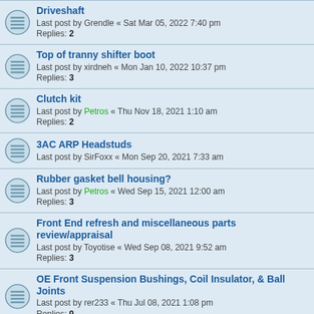Driveshaft
Last post by Grendle « Sat Mar 05, 2022 7:40 pm
Replies: 2
Top of tranny shifter boot
Last post by xirdneh « Mon Jan 10, 2022 10:37 pm
Replies: 3
Clutch kit
Last post by Petros « Thu Nov 18, 2021 1:10 am
Replies: 2
3AC ARP Headstuds
Last post by SirFoxx « Mon Sep 20, 2021 7:33 am
Rubber gasket bell housing?
Last post by Petros « Wed Sep 15, 2021 12:00 am
Replies: 3
Front End refresh and miscellaneous parts review/appraisal
Last post by Toyotise « Wed Sep 08, 2021 9:52 am
Replies: 3
OE Front Suspension Bushings, Coil Insulator, & Ball Joints
Last post by rer233 « Thu Jul 08, 2021 1:08 pm
Replies: 9
Transmission and differential drain plugs
Last post by Toyotise « Sun Jun 06, 2021 7:34 am
Replies: 10
Part Number For Aisan Carburetor Accelerator Pump Arm Washer
Last post by Petros « Thu Apr 01, 2021 12:31 am
Replies: 1